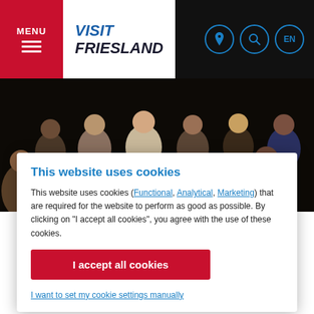MENU | VISIT FRIESLAND | EN
[Figure (photo): Audience sitting in a dark theater or event space, photographed from slightly above, showing multiple rows of people watching something off-screen.]
This website uses cookies
This website uses cookies (Functional, Analytical, Marketing) that are required for the website to perform as good as possible. By clicking on "I accept all cookies", you agree with the use of these cookies.
I accept all cookies
I want to set my cookie settings manually